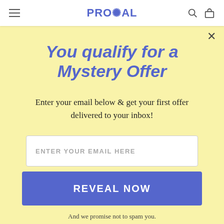PROCOAL
You qualify for a Mystery Offer
Enter your email below & get your first offer delivered to your inbox!
ENTER YOUR EMAIL HERE
REVEAL NOW
And we promise not to spam you.